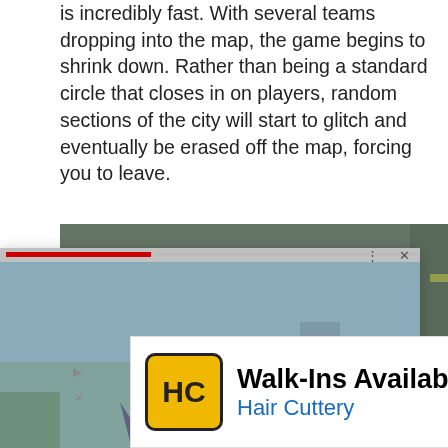is incredibly fast. With several teams dropping into the map, the game begins to shrink down. Rather than being a standard circle that closes in on players, random sections of the city will start to glitch and eventually be erased off the map, forcing you to leave.
[Figure (screenshot): Video player overlay showing a game screenshot with a robotic animal creature (cat/fox-like with large ears and visor eyes) in a green environment. Overlay has a red progress bar at top, three-dot and X icons, and a red circular forward/play button.]
e, they will be able wn points for nother interesting streaming – viewers uch as low gravity n of time.
20. Tabletop
[Figure (screenshot): Bottom strip showing another game screenshot, partially visible.]
[Figure (other): Advertisement banner: Walk-Ins Available – Hair Cuttery, with HC logo in yellow and a blue diamond directional sign icon.]